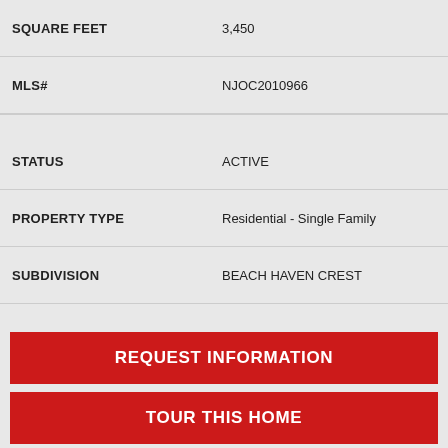| Field | Value |
| --- | --- |
| SQUARE FEET | 3,450 |
| MLS# | NJOC2010966 |
| STATUS | ACTIVE |
| PROPERTY TYPE | Residential - Single Family |
| SUBDIVISION | BEACH HAVEN CREST |
REQUEST INFORMATION
TOUR THIS HOME
CALL / TEXT TO ME / MAP LISTING / PRINT / SHARE / EMAIL